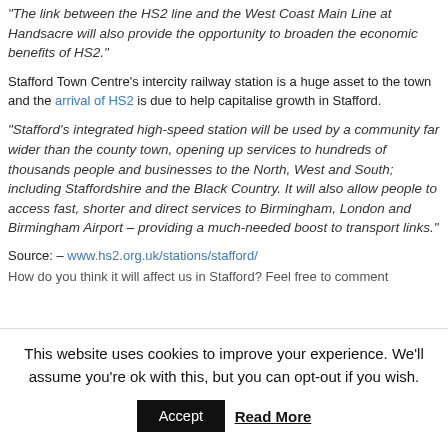"The link between the HS2 line and the West Coast Main Line at Handsacre will also provide the opportunity to broaden the economic benefits of HS2."
Stafford Town Centre's intercity railway station is a huge asset to the town and the arrival of HS2 is due to help capitalise growth in Stafford.
"Stafford's integrated high-speed station will be used by a community far wider than the county town, opening up services to hundreds of thousands people and businesses to the North, West and South; including Staffordshire and the Black Country. It will also allow people to access fast, shorter and direct services to Birmingham, London and Birmingham Airport – providing a much-needed boost to transport links."
Source: – www.hs2.org.uk/stations/stafford/
How do you think it will affect us in Stafford? Feel free to comment
This website uses cookies to improve your experience. We'll assume you're ok with this, but you can opt-out if you wish.